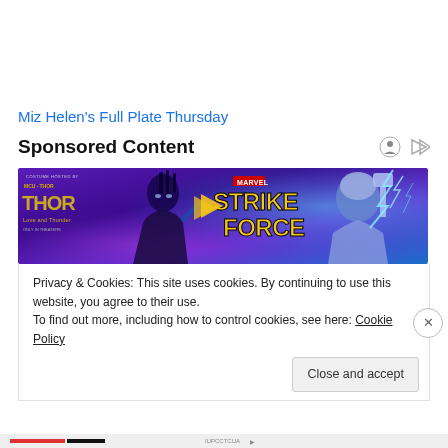Miz Helen's Full Plate Thursday
Sponsored Content
[Figure (illustration): Marvel Strike Force banner ad featuring characters from Thor: Love and Thunder. Purple/blue background with MARVEL Strike Force logo and animated superhero characters including a female warrior with braids and an armored character wielding Thor's hammer with lightning effects.]
Privacy & Cookies: This site uses cookies. By continuing to use this website, you agree to their use.
To find out more, including how to control cookies, see here: Cookie Policy
Close and accept